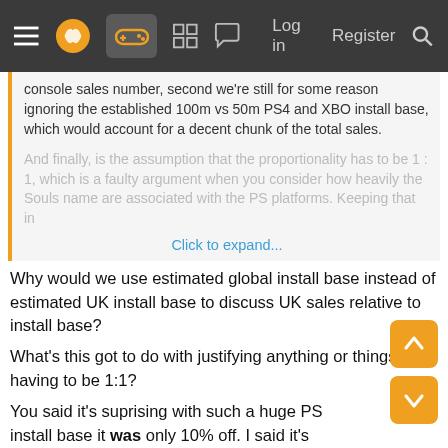Navigation bar with menu, logo, controller icon, grid, chat, Log in, Register, Search
console sales number, second we're still for some reason ignoring the established 100m vs 50m PS4 and XBO install base, which would account for a decent chunk of the total sales.
And finally, is the assumption that the proportionality has to be 1 : 1, which is a faulty argument when you consider how heavily the Souls name are associated with the PS platforms. Keeping that in
Click to expand...
Why would we use estimated global install base instead of estimated UK install base to discuss UK sales relative to install base?
What's this got to do with justifying anything or things having to be 1:1?
You said it's suprising with such a huge PS install base it was only 10% off. I said it's actually not that suprising if you use the relevant correct percentage and that it matches up with the install base quite well, it's even slightly higher than the install base.